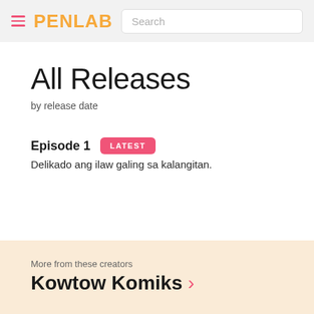PENLAB | Search
All Releases
by release date
Episode 1  LATEST
Delikado ang ilaw galing sa kalangitan.
More from these creators
Kowtow Komiks >